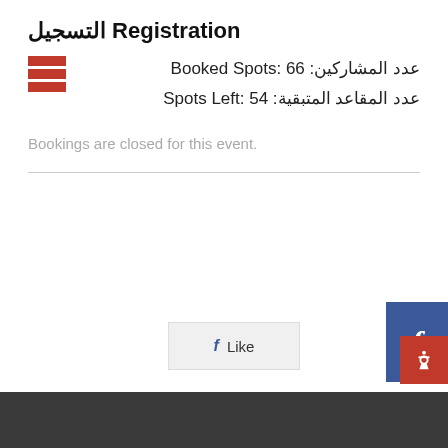التسجيل Registration
عدد المشاركين: Booked Spots: 66
عدد المقاعد المتبقية: Spots Left: 54
Bookings are closed for this event.
[Figure (logo): Facebook like button and Facebook side widget]